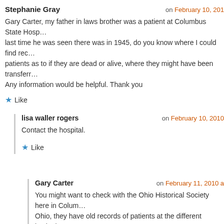Stephanie Gray — on February 10, 201…
Gary Carter, my father in laws brother was a patient at Columbus State Hosp… last time he was seen there was in 1945, do you know where I could find rec… patients as to if they are dead or alive, where they might have been transferr… Any information would be helpful. Thank you
★ Like
lisa waller rogers — on February 10, 2010
Contact the hospital.
★ Like
Gary Carter — on February 11, 2010 a…
You might want to check with the Ohio Historical Society here in Colum… Ohio, they have old records of patients at the different institutions. I am a collector of the old State Hospital, I have some information on patien… also, but not as much as the Historical Society. You can contact me statehosp@aol.com. I would be more than glad to check and see if I h…